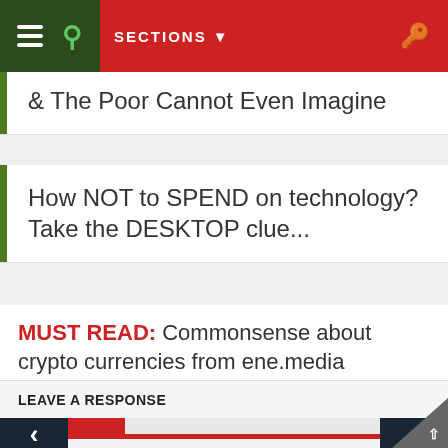SECTIONS
& The Poor Cannot Even Imagine
How NOT to SPEND on technology? Take the DESKTOP clue...
MUST READ: Commonsense about crypto currencies from ene.media
ENTS   LEAVE A RESPONSE
LEAVE A RESPONSE